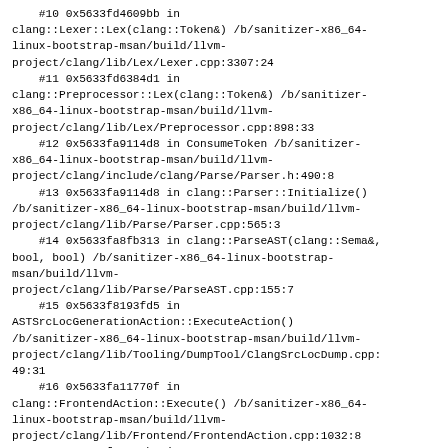#10 0x5633fd4609bb in clang::Lexer::Lex(clang::Token&) /b/sanitizer-x86_64-linux-bootstrap-msan/build/llvm-project/clang/lib/Lex/Lexer.cpp:3307:24
    #11 0x5633fd6384d1 in clang::Preprocessor::Lex(clang::Token&) /b/sanitizer-x86_64-linux-bootstrap-msan/build/llvm-project/clang/lib/Lex/Preprocessor.cpp:898:33
    #12 0x5633fa9114d8 in ConsumeToken /b/sanitizer-x86_64-linux-bootstrap-msan/build/llvm-project/clang/include/clang/Parse/Parser.h:490:8
    #13 0x5633fa9114d8 in clang::Parser::Initialize() /b/sanitizer-x86_64-linux-bootstrap-msan/build/llvm-project/clang/lib/Parse/Parser.cpp:565:3
    #14 0x5633fa8fb313 in clang::ParseAST(clang::Sema&, bool, bool) /b/sanitizer-x86_64-linux-bootstrap-msan/build/llvm-project/clang/lib/Parse/ParseAST.cpp:155:7
    #15 0x5633f8193fd5 in ASTSrcLocGenerationAction::ExecuteAction() /b/sanitizer-x86_64-linux-bootstrap-msan/build/llvm-project/clang/lib/Tooling/DumpTool/ClangSrcLocDump.cpp:49:31
    #16 0x5633fa11770f in clang::FrontendAction::Execute() /b/sanitizer-x86_64-linux-bootstrap-msan/build/llvm-project/clang/lib/Frontend/FrontendAction.cpp:1032:8
    #17 0x5633f9ea7cb2 in clang::CompilerInstance::ExecuteAction(clang::FrontendAction&) /b/sanitizer-x86_64-linux-bootstrap-msan/build/llvm-